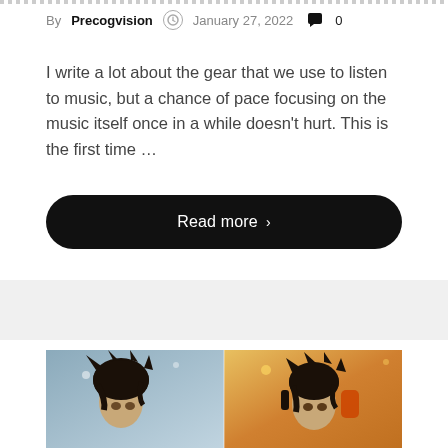By Precogvision  ⏱  January 27, 2022  💬 0
I write a lot about the gear that we use to listen to music, but a chance of pace focusing on the music itself once in a while doesn't hurt. This is the first time …
Read more  >
[Figure (photo): Anime-style illustration showing two characters with dark spiky hair, side by side — one on a light blue background, one on a warm golden/orange background, each wearing headphones-like accessories.]